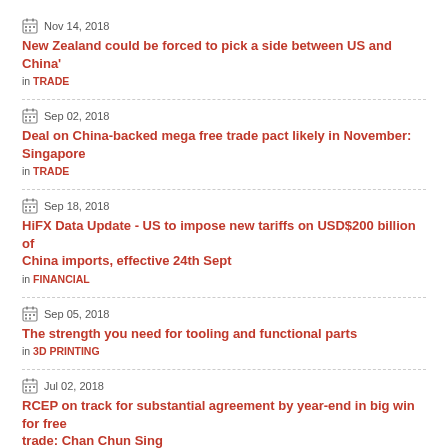Nov 14, 2018 | New Zealand could be forced to pick a side between US and China' | in TRADE
Sep 02, 2018 | Deal on China-backed mega free trade pact likely in November: Singapore | in TRADE
Sep 18, 2018 | HiFX Data Update - US to impose new tariffs on USD$200 billion of China imports, effective 24th Sept | in FINANCIAL
Sep 05, 2018 | The strength you need for tooling and functional parts | in 3D PRINTING
Jul 02, 2018 | RCEP on track for substantial agreement by year-end in big win for free trade: Chan Chun Sing | in TRADE